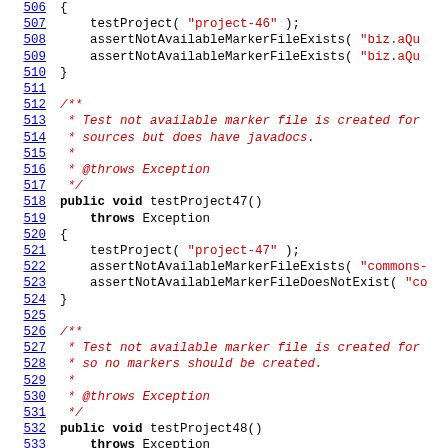Source code listing, lines 506-535, Java test methods testProject47() and testProject48()